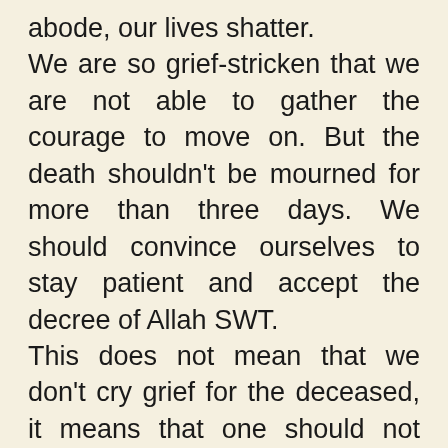abode, our lives shatter.
We are so grief-stricken that we are not able to gather the courage to move on. But the death shouldn't be mourned for more than three days. We should convince ourselves to stay patient and accept the decree of Allah SWT.
This does not mean that we don't cry grief for the deceased, it means that one should not tear down clothes or beats face and chest or question Allah, as it is strictly forbidden in Islam. The reward for being patient over losing a loved one is promised by Allah...